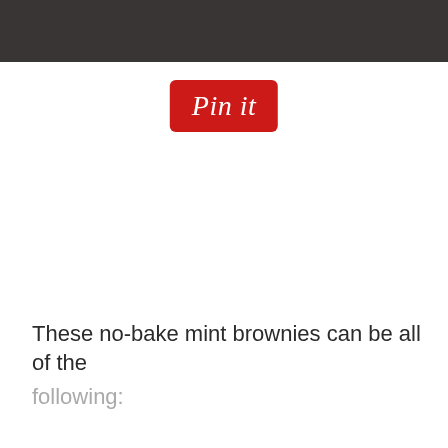[Figure (photo): Dark textured photo strip at top of page, showing a dark brown/grey surface, cropped to a narrow horizontal band.]
[Figure (logo): Pinterest 'Pin it' button — red rounded rectangle with white italic script text reading 'Pin it']
These no-bake mint brownies can be all of the following: